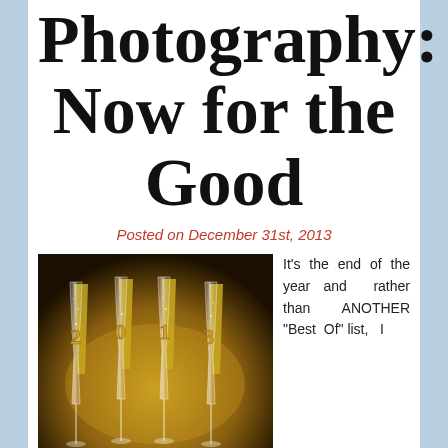Photography: Now for the Good
Posted on December 31st, 2013
[Figure (photo): Four champagne flute glasses with the numbers 2, 0, 1, 3 on them, set against a dark golden-brown background]
It's the end of the year and rather than ANOTHER “Best Of” list, I
thought I would just list all good about photography in